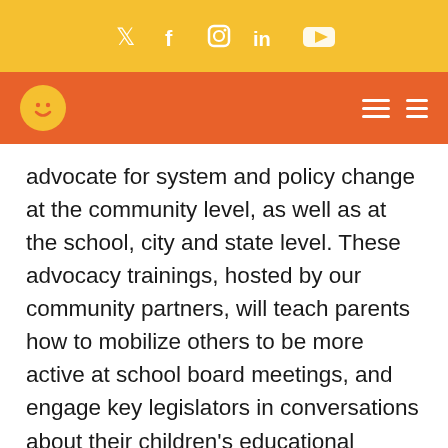Social media icons: Twitter, Facebook, Instagram, LinkedIn, YouTube
[Figure (logo): Orange navigation bar with yellow smiley face logo on left and hamburger menu icons on right]
advocate for system and policy change at the community level, as well as at the school, city and state level. These advocacy trainings, hosted by our community partners, will teach parents how to mobilize others to be more active at school board meetings, and engage key legislators in conversations about their children's educational future. Ultimately, they will learn how to testify as a group at the Capitol on Advocacy for Children Day 2018, along with Way to Grow CEO Carolyn Smallwood to help shape future policy.